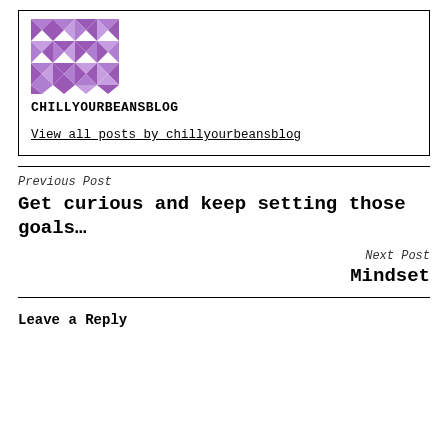[Figure (logo): Purple geometric diamond/triangle pattern logo for chillyourbeansblog]
CHILLYOURBEANSBLOG
View all posts by chillyourbeansblog
Previous Post
Get curious and keep setting those goals…
Next Post
Mindset
Leave a Reply